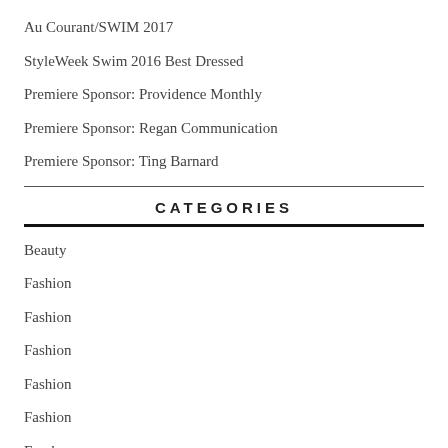Au Courant/SWIM 2017
StyleWeek Swim 2016 Best Dressed
Premiere Sponsor: Providence Monthly
Premiere Sponsor: Regan Communication
Premiere Sponsor: Ting Barnard
CATEGORIES
Beauty
Fashion
Fashion
Fashion
Fashion
Fashion
Food